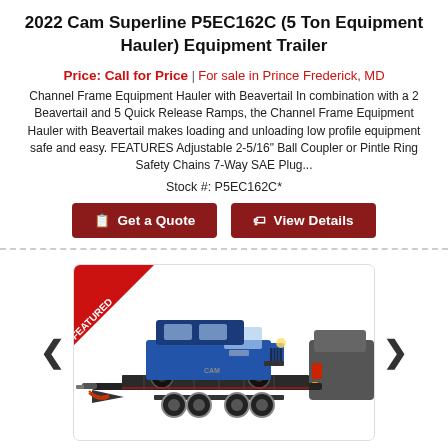2022 Cam Superline P5EC162C (5 Ton Equipment Hauler) Equipment Trailer
Price: Call for Price | For sale in Prince Frederick, MD
Channel Frame Equipment Hauler with Beavertail In combination with a 2 Beavertail and 5 Quick Release Ramps, the Channel Frame Equipment Hauler with Beavertail makes loading and unloading low profile equipment safe and easy. FEATURES Adjustable 2-5/16" Ball Coupler or Pintle Ring Safety Chains 7-Way SAE Plug...
Stock #: P5EC162C*
[Figure (photo): Blue Jeep Wrangler loaded on a Cam Superline equipment trailer being towed, with a red FEATURED ribbon in the top-left corner of the image frame.]